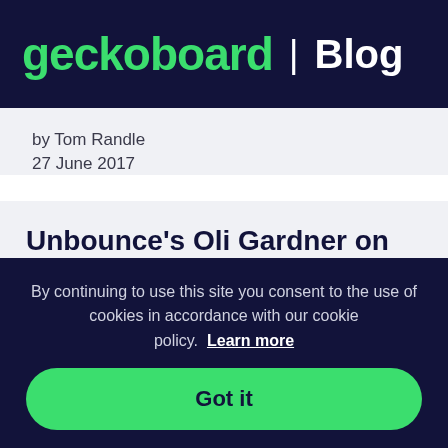geckoboard | Blog
by Tom Randle
27 June 2017
Unbounce’s Oli Gardner on evolving metrics, scaling culture, AI, and more [Podcast]
By continuing to use this site you consent to the use of cookies in accordance with our cookie policy. Learn more
Got it